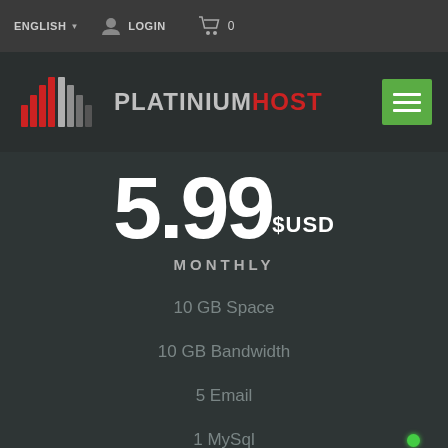ENGLISH  LOGIN  0
[Figure (logo): PlatiniumHost logo with stylized bar chart icon in red/grey and text PLATINIUMHOST]
5.99 $USD
MONTHLY
10 GB Space
10 GB Bandwidth
5 Email
1 MySql